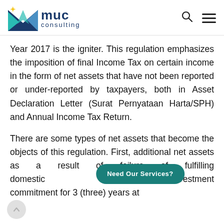MUC Consulting
Year 2017 is the igniter. This regulation emphasizes the imposition of final Income Tax on certain income in the form of net assets that have not been reported or under-reported by taxpayers, both in Asset Declaration Letter (Surat Pernyataan Harta/SPH) and Annual Income Tax Return.
There are some types of net assets that become the objects of this regulation. First, additional net assets as a result of failure of fulfilling domestic [Need Our Services?] tion or investment commitment for 3 (three) years at